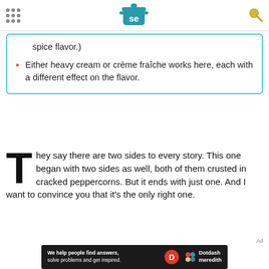Serious Eats header with logo and navigation
spice flavor.)
Either heavy cream or crème fraîche works here, each with a different effect on the flavor.
They say there are two sides to every story. This one began with two sides as well, both of them crusted in cracked peppercorns. But it ends with just one. And I want to convince you that it's the only right one.
[Figure (logo): Dotdash Meredith advertisement banner — We help people find answers, solve problems and get inspired.]